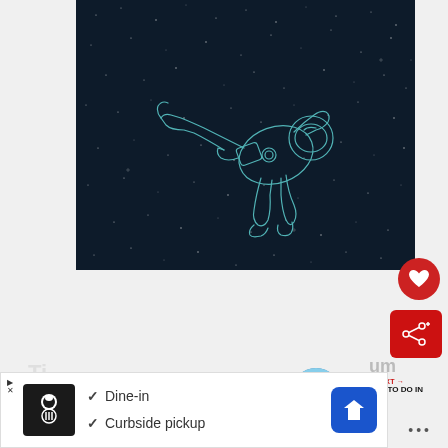[Figure (illustration): Digital illustration of an astronaut floating in space against a dark starry background. The astronaut is shown from side/above angle, wearing a spacesuit with helmet, arms extended, drifting weightlessly. The art style uses teal/cyan outlines on a very dark navy background with scattered white star dots.]
[Figure (screenshot): UI elements: red circular heart/favorite button, red share button with share icon, 'WHAT'S NEXT' section with thumbnail of city skyline and text '27 THINGS TO DO IN SOUT...', three dots/ellipsis icon]
[Figure (screenshot): Advertisement bar at bottom showing: restaurant logo icon, checkmarks next to 'Dine-in' and 'Curbside pickup' text, navigation/map icon on right. Ad close buttons at top left.]